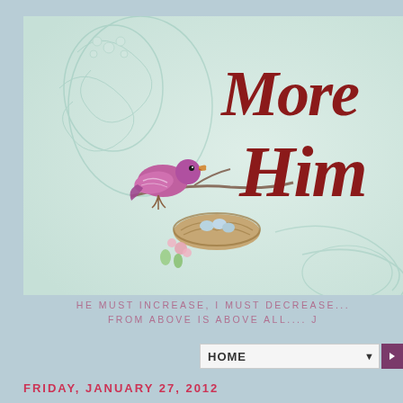[Figure (illustration): Blog header banner with a vintage aesthetic. Features a pink/magenta bird perched on a branch with a nest containing eggs below it. Decorative scrollwork in mint/teal. Large dark red cursive text reads 'More' and 'Him' (full title partially cropped). Background is pale mint/cream.]
HE MUST INCREASE, I MUST DECREASE... FROM ABOVE IS ABOVE ALL.... J
HOME
FRIDAY, JANUARY 27, 2012